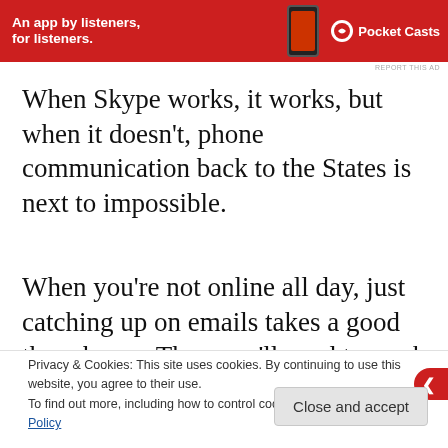[Figure (other): Red Pocket Casts advertisement banner: 'An app by listeners, for listeners.' with phone image and Pocket Casts logo]
REPORT THIS AD
When Skype works, it works, but when it doesn't, phone communication back to the States is next to impossible.
When you're not online all day, just catching up on emails takes a good three hours. Then you'll need to work til way past midnight if you want to c
Privacy & Cookies: This site uses cookies. By continuing to use this website, you agree to their use.
To find out more, including how to control cookies, see here: Cookie Policy
Close and accept